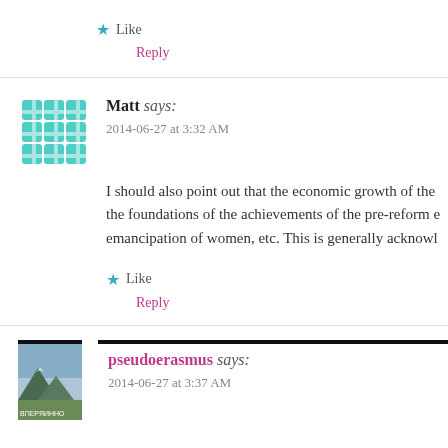★ Like
Reply
Matt says: 2014-06-27 at 3:32 AM
I should also point out that the economic growth of the foundations of the achievements of the pre-reform e emancipation of women, etc. This is generally acknowl
★ Like
Reply
pseudoerasmus says: 2014-06-27 at 3:37 AM